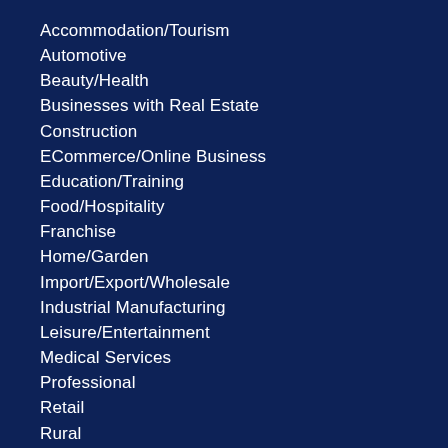Accommodation/Tourism
Automotive
Beauty/Health
Businesses with Real Estate
Construction
ECommerce/Online Business
Education/Training
Food/Hospitality
Franchise
Home/Garden
Import/Export/Wholesale
Industrial Manufacturing
Leisure/Entertainment
Medical Services
Professional
Retail
Rural
Seller Financing Available
Services
Transport/Distribution